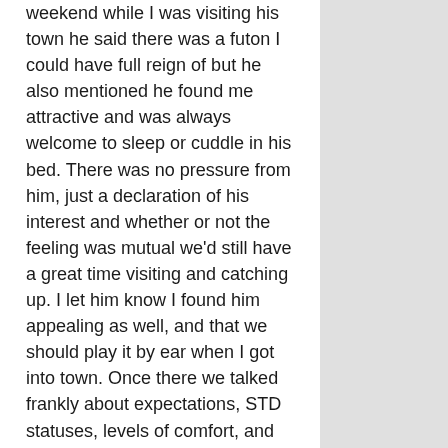weekend while I was visiting his town he said there was a futon I could have full reign of but he also mentioned he found me attractive and was always welcome to sleep or cuddle in his bed. There was no pressure from him, just a declaration of his interest and whether or not the feeling was mutual we'd still have a great time visiting and catching up. I let him know I found him appealing as well, and that we should play it by ear when I got into town. Once there we talked frankly about expectations, STD statuses, levels of comfort, and experiences in kink before we ever kissed for the first time or any clothing was removed. I had never had that much open communication about sex before with a partner and it, as well as the resulting sex, was absolutely incredible.
That situation is different than how normal